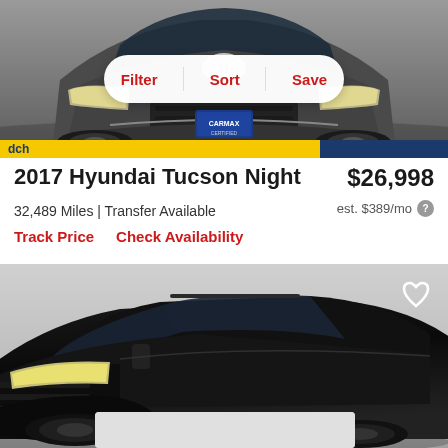[Figure (photo): Front view of a gray 2017 Hyundai Tucson Night edition parked on white background with CarMax license plate frame]
[Figure (screenshot): Filter, Sort, Save navigation bar overlay on top car image]
2017 Hyundai Tucson Night
$26,998
32,489 Miles | Transfer Available
est. $389/mo
Track Price   Check Availability
[Figure (photo): Three-quarter front view of a black Hyundai Tucson on gray background]